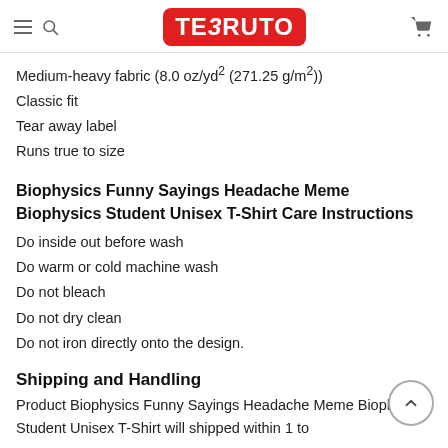TEERUTO (logo with menu, search, cart icons)
Medium-heavy fabric (8.0 oz/yd² (271.25 g/m²))
Classic fit
Tear away label
Runs true to size
Biophysics Funny Sayings Headache Meme Biophysics Student Unisex T-Shirt Care Instructions
Do inside out before wash
Do warm or cold machine wash
Do not bleach
Do not dry clean
Do not iron directly onto the design.
Shipping and Handling
Product Biophysics Funny Sayings Headache Meme Biophysics Student Unisex T-Shirt will shipped within 1 to